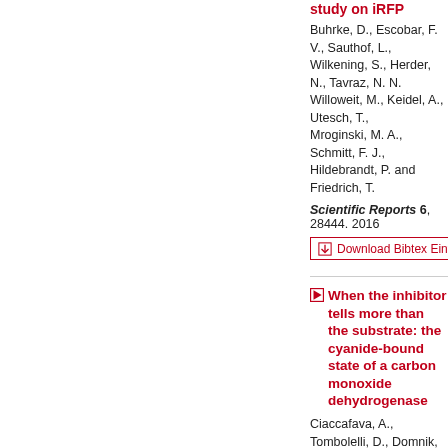study on iRFP
Buhrke, D., Escobar, F. V., Sauthof, L., Wilkening, S., Herder, N., Tavraz, N. N., Willoweit, M., Keidel, A., Utesch, T., Mroginski, M. A., Schmitt, F. J., Hildebrandt, P. and Friedrich, T.
Scientific Reports 6, 28444. 2016
Download Bibtex Eintrag
When the inhibitor tells more than the substrate: the cyanide-bound state of a carbon monoxide dehydrogenase
Ciaccafava, A., Tombolelli, D., Domnik, Fesseler, J., Jeoung, J.-H., Dobbek, H., Mroginski, M. A., Zebger, I. and Hildebrandt, P.
Chem. Sci. 7, 3162-3171. 2016
Download Bibtex Eintrag
Polarization- and Wavelength-Dependent Surface-Enhanced Raman Spectroscopy Using Optically Anisotropic Rippled Substrates for Sensing
Shashav, D., Schreiber, R.